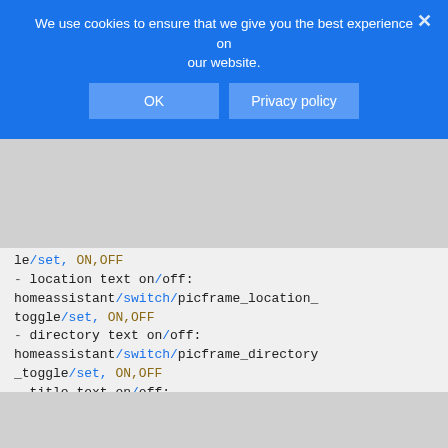[Figure (screenshot): Cookie consent banner overlay with blue background, text 'We use cookies to ensure that we give you the best experience on our website.', OK and Privacy policy buttons, and a close X button]
le/set, ON,OFF
- location text on/off:
homeassistant/switch/picframe_location_toggle/set, ON,OFF
- directory text on/off:
homeassistant/switch/picframe_directory_toggle/set, ON,OFF
- title text on/off:
homeassistant/switch/picframe_title_toggle/set, ON,OFF
- caption text on/off:
homeassistant/switch/picframe_caption_toggle/set, ON,OFF
- all text off: